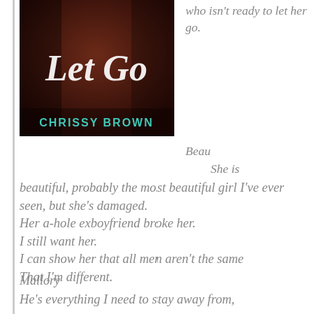[Figure (illustration): Book cover for 'Let Go' by Chrissy Brown. Dark reddish-brown background with cursive white title text 'Let Go' and author name 'CHRISSY BROWN' in teal/cyan capital letters at the bottom.]
who isn't ready to let her go.
Beau
She is beautiful, probably the most beautiful girl I've ever seen, but she's damaged. Her a-hole exboyfriend broke her. I still want her. I can show her that all men aren't the same That I'm different.
Mallory
He's everything I need to stay away from,